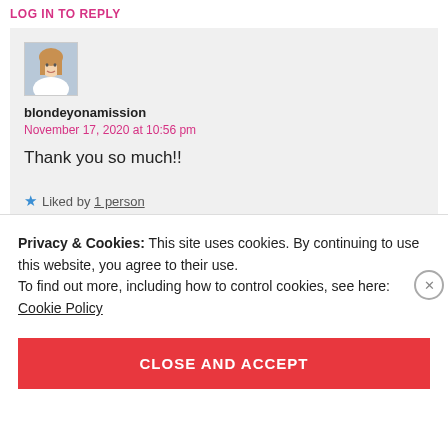LOG IN TO REPLY
[Figure (photo): Avatar photo of a woman with long blonde hair wearing a white top]
blondeyonamission
November 17, 2020 at 10:56 pm
Thank you so much!!
Liked by 1 person
Privacy & Cookies: This site uses cookies. By continuing to use this website, you agree to their use.
To find out more, including how to control cookies, see here:
Cookie Policy
CLOSE AND ACCEPT